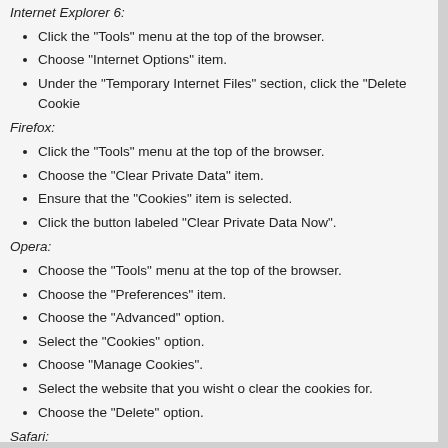Internet Explorer 6:
Click the "Tools" menu at the top of the browser.
Choose "Internet Options" item.
Under the "Temporary Internet Files" section, click the "Delete Cookie...
Firefox:
Click the "Tools" menu at the top of the browser.
Choose the "Clear Private Data" item.
Ensure that the "Cookies" item is selected.
Click the button labeled "Clear Private Data Now".
Opera:
Choose the "Tools" menu at the top of the browser.
Choose the "Preferences" item.
Choose the "Advanced" option.
Select the "Cookies" option.
Choose "Manage Cookies".
Select the website that you wisht o clear the cookies for.
Choose the "Delete" option.
Safari:
From the "Safari" menu, choose the "Preferences" item.
From the Security dialog box, choose "Bookmarks".
Click "Show Cookies".
Choose a cookie (or cookies) to delete, or click the "Remove All" butt...